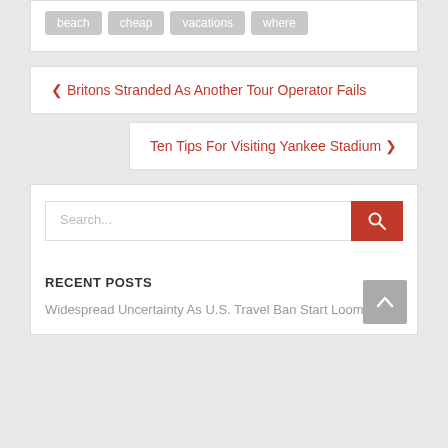beach
cheap
vacations
where
< Britons Stranded As Another Tour Operator Fails
Ten Tips For Visiting Yankee Stadium >
Search...
RECENT POSTS
Widespread Uncertainty As U.S. Travel Ban Start Looms